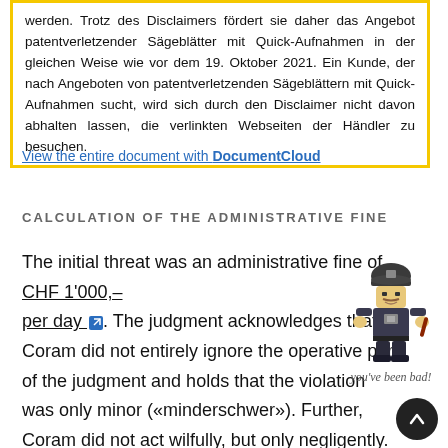werden. Trotz des Disclaimers fördert sie daher das Angebot patentverletzender Sägeblätter mit Quick-Aufnahmen in der gleichen Weise wie vor dem 19. Oktober 2021. Ein Kunde, der nach Angeboten von patentverletzenden Sägeblättern mit Quick-Aufnahmen sucht, wird sich durch den Disclaimer nicht davon abhalten lassen, die verlinkten Webseiten der Händler zu besuchen.
View the entire document with DocumentCloud
CALCULATION OF THE ADMINISTRATIVE FINE
The initial threat was an administrative fine of CHF 1'000,– per day. The judgment acknowledges that Coram did not entirely ignore the operative part of the judgment and holds that the violation was only minor («minderschwer»). Further, Coram did not act wilfully, but only negligently. With the disclaimer in place after 19 October 2021, the violation is held to be more moderate.
[Figure (illustration): Lego police officer figure holding a baton, with caption 'you've been bad!']
[Figure (other): Scroll-to-top button (circular dark button with upward arrow)]